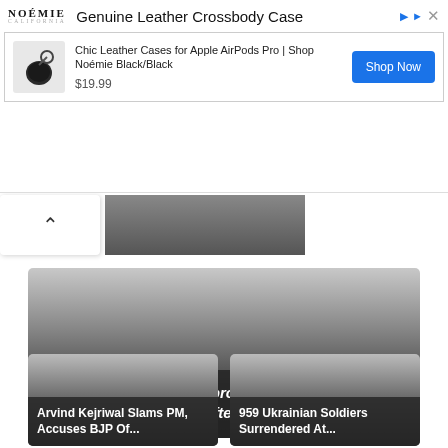[Figure (screenshot): Advertisement banner for Noémie Genuine Leather Crossbody Case. Shows logo, product title, product image (AirPod case), product name 'Chic Leather Cases for Apple AirPods Pro | Shop Noémie Black/Black', price '$19.99', and a blue 'Shop Now' button.]
[Figure (photo): Dark image strip showing partial photos of products or scenes, partially obscured.]
[Figure (photo): News card image with dark gradient overlay. Headline: "One Of The Biggest Improvements": Elon Musk Fixes Starship Rocket After YouTuber's Query]
[Figure (photo): News card image with dark gradient overlay. Headline: Arvind Kejriwal Slams PM, Accuses BJP Of...]
[Figure (photo): News card image with dark gradient overlay. Headline: 959 Ukrainian Soldiers Surrendered At...]